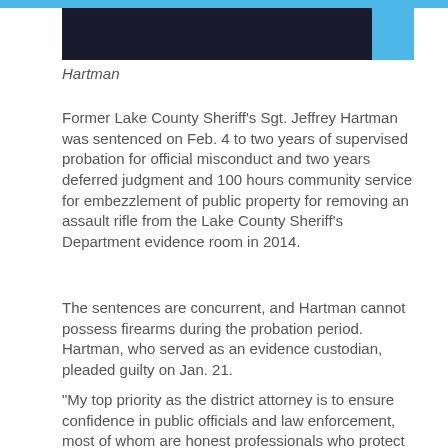[Figure (photo): Dark photograph of a person (Hartman), partially cropped at top of page]
Hartman
Former Lake County Sheriff’s Sgt. Jeffrey Hartman was sentenced on Feb. 4 to two years of supervised probation for official misconduct and two years deferred judgment and 100 hours community service for embezzlement of public property for removing an assault rifle from the Lake County Sheriff’s Department evidence room in 2014.
The sentences are concurrent, and Hartman cannot possess firearms during the probation period. Hartman, who served as an evidence custodian, pleaded guilty on Jan. 21.
“My top priority as the district attorney is to ensure confidence in public officials and law enforcement, most of whom are honest professionals who protect us and